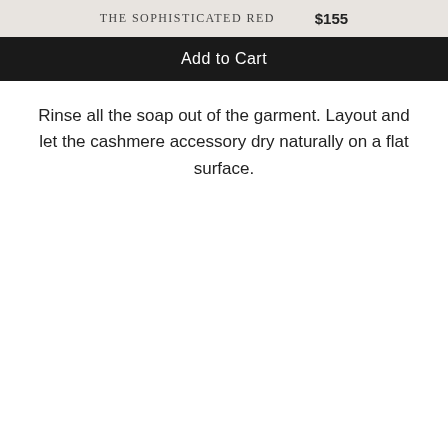THE SOPHISTICATED RED   $155
Add to Cart
Rinse all the soap out of the garment. Layout and let the cashmere accessory dry naturally on a flat surface.